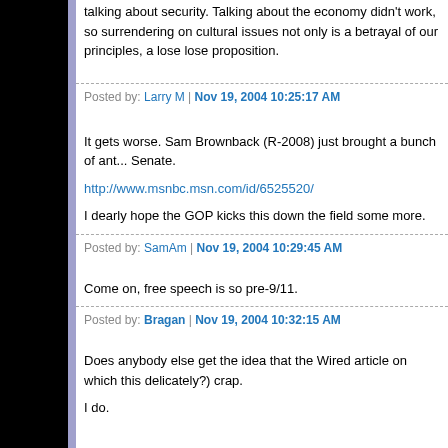talking about security. Talking about the economy didn't work, so surrendering on cultural issues not only is a betrayal of our principles, a lose lose proposition.
Posted by: Larry M | Nov 19, 2004 10:25:17 AM
It gets worse. Sam Brownback (R-2008) just brought a bunch of ant... Senate.
http://www.msnbc.msn.com/id/6525520/
I dearly hope the GOP kicks this down the field some more.
Posted by: SamAm | Nov 19, 2004 10:29:45 AM
Come on, free speech is so pre-9/11.
Posted by: Bragan | Nov 19, 2004 10:32:15 AM
Does anybody else get the idea that the Wired article on which this... delicately?) crap.
I do.